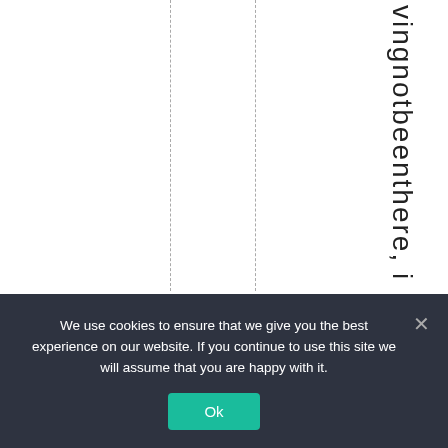vingnotbeenthere, i
We use cookies to ensure that we give you the best experience on our website. If you continue to use this site we will assume that you are happy with it.
Ok